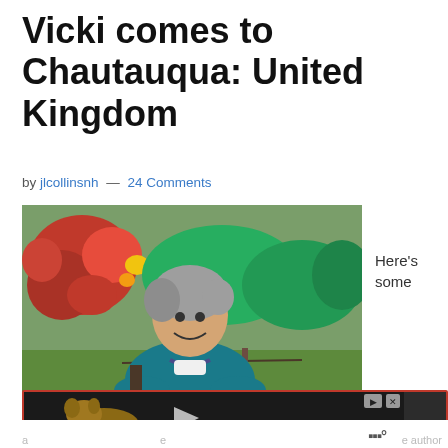Vicki comes to Chautauqua: United Kingdom
by jlcollinsnh — 24 Comments
[Figure (photo): Woman with gray hair wearing a teal top and beaded necklace, seated outdoors in a garden with colorful flowers in the background, smiling at the camera.]
Here's some
[Figure (screenshot): Advertisement bar with dark background showing a video of a dog, with play and close buttons in top right, and a red replay button in bottom right.]
author